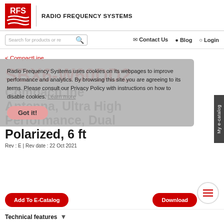[Figure (logo): RFS Radio Frequency Systems logo with red RFS letters and wave lines]
RADIO FREQUENCY SYSTEMS
Search for products or re
Contact Us   Blog   Login
< CompactLine
SBX6-W60DD2
CompactLine Antenna, Ultra High Performance, Dual Polarized, 6 ft
Rev : E | Rev date : 22 Oct 2021
Radio Frequency Systems uses cookies on its webpages to improve performance and analytics. By browsing this site you are agreeing to its terms. Please consult our Privacy Policy with instructions on how to disable cookies. Learn more
Got it!
Add To E-Catalog
Download
Technical features